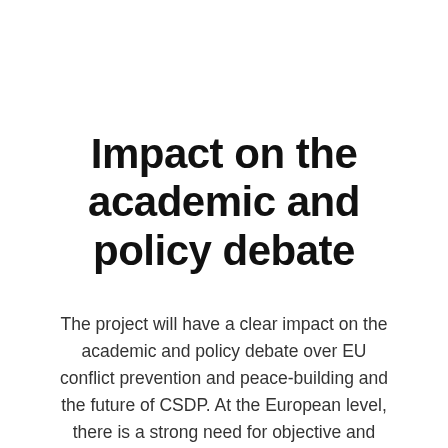Impact on the academic and policy debate
The project will have a clear impact on the academic and policy debate over EU conflict prevention and peace-building and the future of CSDP. At the European level, there is a strong need for objective and efficient tools for testing and validating novel concepts and approaches in this